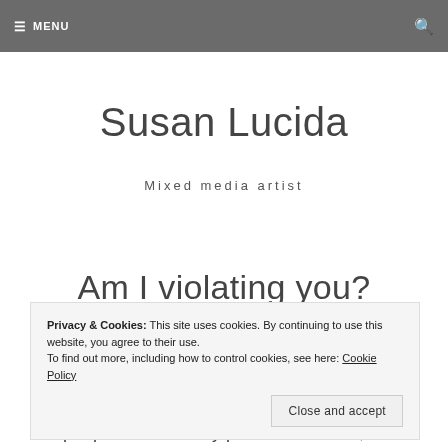≡ MENU | 🔍
Susan Lucida
Mixed media artist
Am I violating you?
Privacy & Cookies: This site uses cookies. By continuing to use this website, you agree to their use.
To find out more, including how to control cookies, see here: Cookie Policy
Close and accept
people. Even if they paid me to do so, or